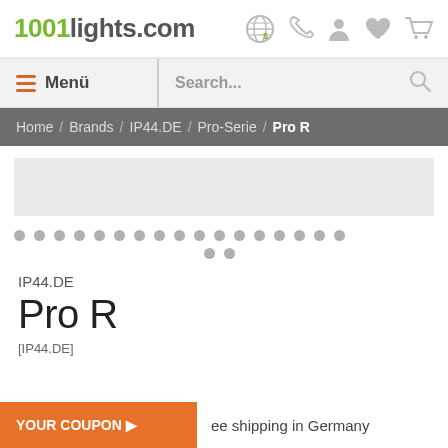1001lights.com
≡ Menü   Search...
Home / Brands / IP44.DE / Pro-Serie / Pro R
[Figure (other): Gray image placeholder / product image area]
[Figure (other): Carousel dots navigation — 19 dots in two rows]
IP44.DE
Pro R
[IP44.DE]
ee shipping in Germany